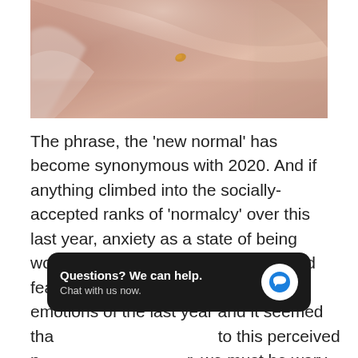[Figure (photo): Close-up photograph of a person's bare shoulder/back skin, warm tones, slightly out of focus]
The phrase, the 'new normal' has become synonymous with 2020. And if anything climbed into the socially-accepted ranks of 'normalcy' over this last year, anxiety as a state of being would have to be it. Anxiety, worry and fear were the predominant cultural emotions of the last year and it seemed tha[t no one was immune] to this perceived n[ew normal. Howeve]r, we must be wary of how we normalize dysfunction